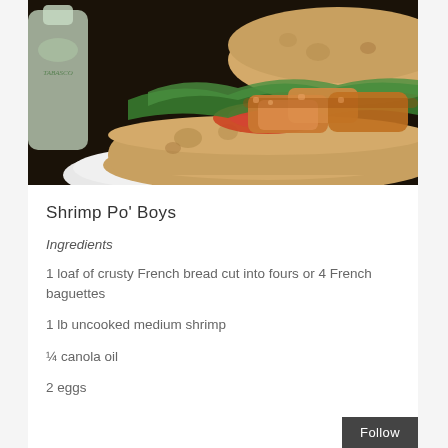[Figure (photo): Close-up photo of a shrimp po' boy sandwich on a white plate, with fried shrimp, lettuce, and tomato on a crusty roll, with a bottle visible in the background.]
Shrimp Po' Boys
Ingredients
1 loaf of crusty French bread cut into fours or 4 French baguettes
1 lb uncooked medium shrimp
¼ canola oil
2 eggs